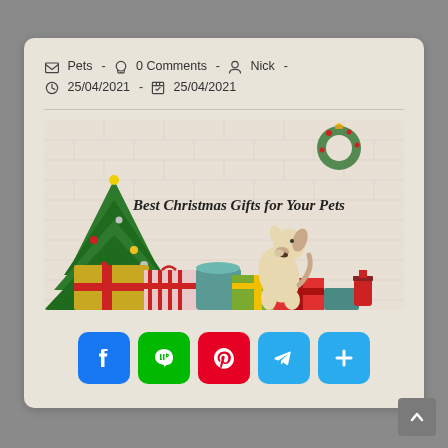Pets - 0 Comments - Nick - 25/04/2021 - 25/04/2021
[Figure (photo): Christmas scene with a decorated tree, wrapped gifts, and a dog standing on hind legs looking at the presents. Text overlay reads 'Best Christmas Gifts for Your Pets'. A wreath is visible on the wall in the background.]
Social share buttons: Facebook, LINE, Pinterest, Telegram, More